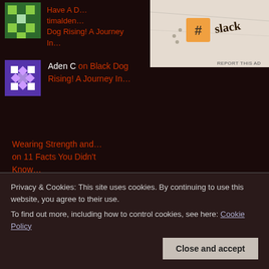[Figure (other): Green and white geometric pattern avatar (partial, top left)]
Have A D… timalden… Dog Rising! A Journey In…
[Figure (other): Slack advertisement image with slack logo and lettering on paper background]
[Figure (other): Purple and white geometric pattern avatar]
Aden C on Black Dog Rising! A Journey In…
Wearing Strength and… on 11 Facts You Didn't Know…
Donna on Stefano Cucchi: How One
[Figure (photo): Photo of a woman with blonde hair wearing an orange top]
Privacy & Cookies: This site uses cookies. By continuing to use this website, you agree to their use.
To find out more, including how to control cookies, see here: Cookie Policy
Close and accept
Archives